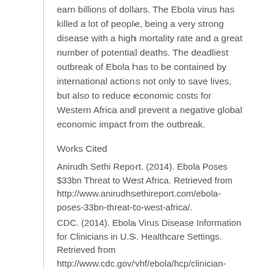earn billions of dollars. The Ebola virus has killed a lot of people, being a very strong disease with a high mortality rate and a great number of potential deaths. The deadliest outbreak of Ebola has to be contained by international actions not only to save lives, but also to reduce economic costs for Western Africa and prevent a negative global economic impact from the outbreak.
Works Cited
Anirudh Sethi Report. (2014). Ebola Poses $33bn Threat to West Africa. Retrieved from http://www.anirudhsethireport.com/ebola-poses-33bn-threat-to-west-africa/.
CDC. (2014). Ebola Virus Disease Information for Clinicians in U.S. Healthcare Settings. Retrieved from http://www.cdc.gov/vhf/ebola/hcp/clinician-information-us-healthcare-settings.html?s_cid=cs_3964.
Sanchez, R. (2014). What Countries Have Pledged to Fight Ebola… and How Much They've Paid into the Fund.